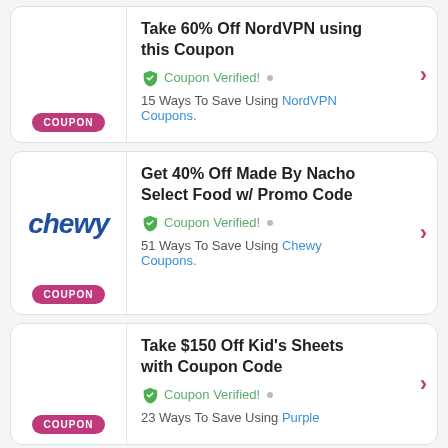Take 60% Off NordVPN using this Coupon — Coupon Verified! — 15 Ways To Save Using NordVPN Coupons.
Get 40% Off Made By Nacho Select Food w/ Promo Code — Coupon Verified! — 51 Ways To Save Using Chewy Coupons.
Take $150 Off Kid's Sheets with Coupon Code — Coupon Verified! — 23 Ways To Save Using Purple Coupons.